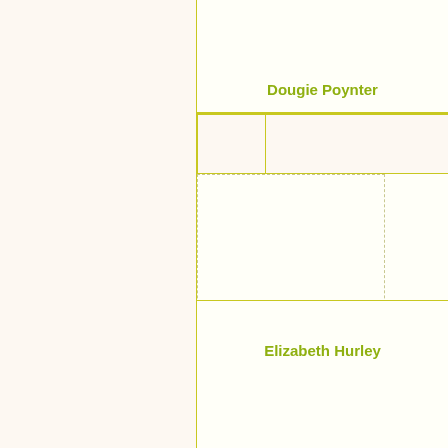[Figure (other): Card layout showing celebrity names. Top card shows 'Dougie Poynter', middle card shows 'Elizabeth Hurley', bottom card shows 'Emily Blunt', with partial cards at top and bottom edges.]
Dougie Poynter
Elizabeth Hurley
Emily Blunt